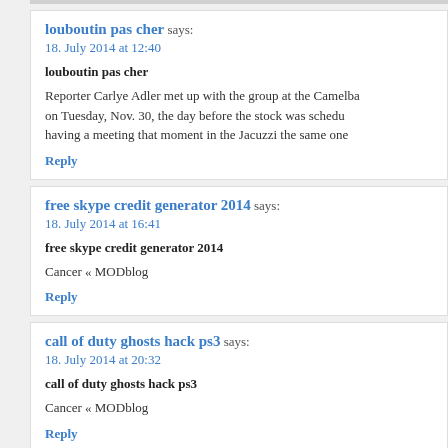louboutin pas cher says: 18. July 2014 at 12:40
louboutin pas cher
Reporter Carlye Adler met up with the group at the Camelba on Tuesday, Nov. 30, the day before the stock was schedu having a meeting that moment in the Jacuzzi the same one
Reply
free skype credit generator 2014 says: 18. July 2014 at 16:41
free skype credit generator 2014
Cancer « MODblog
Reply
call of duty ghosts hack ps3 says: 18. July 2014 at 20:32
call of duty ghosts hack ps3
Cancer « MODblog
Reply